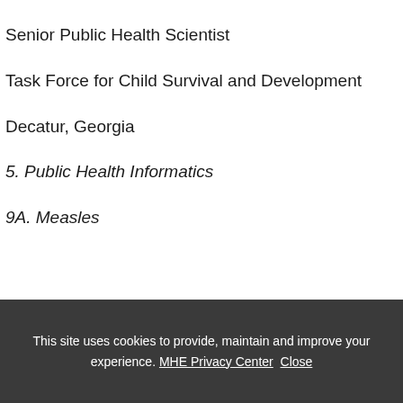Senior Public Health Scientist
Task Force for Child Survival and Development
Decatur, Georgia
5. Public Health Informatics
9A. Measles
This site uses cookies to provide, maintain and improve your experience. MHE Privacy Center  Close